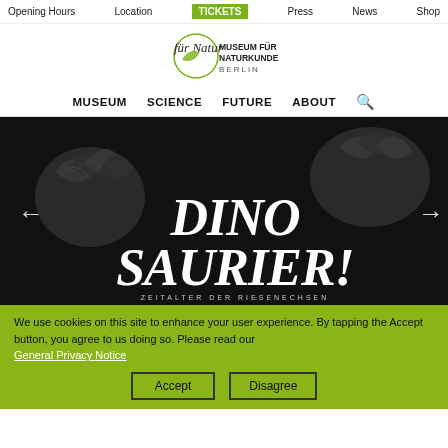Opening Hours   Location   TICKETS   Press   News   Shop
[Figure (logo): Museum für Naturkunde Berlin logo with cursive 'für Natur' text and leaf graphic]
MUSEUM   SCIENCE   FUTURE   ABOUT   [search icon]
[Figure (photo): Dark background with dinosaur claws/feet specimens and large white italic text 'DINOSAURIER! Zeitalter der Riesenechsen', with left and right navigation arrows]
We use cookies on this site to enhance your user experience. By tapping the Accept button, you agree to us doing so. Please read our
General Privacy Notice
Accept   Disagree